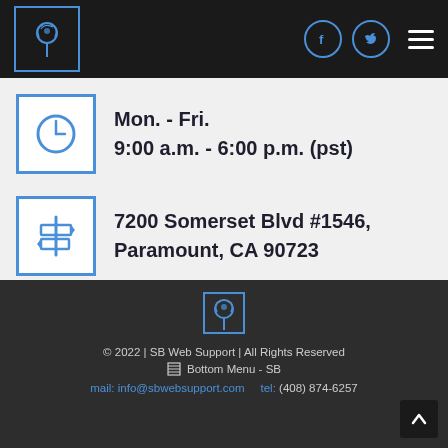[Figure (logo): SB Web Support logo in header — plant/tree icon in a blue-bordered box on dark background with Facebook and Twitter icons and hamburger menu]
Mon. - Fri.
9:00 a.m. - 6:00 p.m. (pst)
7200 Somerset Blvd #1546, Paramount, CA 90723
[Figure (logo): SB Web Support footer logo — plant/tree icon in blue-bordered box]
© 2022 | SB Web Support | All Rights Reserved
Bottom Menu - SB
mail: info@sbwebsupport.com   tel: (408) 874-6257